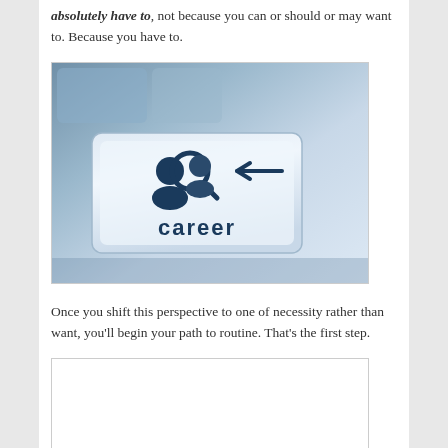absolutely have to, not because you can or should or may want to. Because you have to.
[Figure (photo): A keyboard key with a career search icon (magnifying glass over person silhouette) and an arrow, labeled 'career' in dark blue text on a light blue keyboard key.]
Once you shift this perspective to one of necessity rather than want, you'll begin your path to routine. That's the first step.
[Figure (other): Empty white box with border at the bottom of the page.]